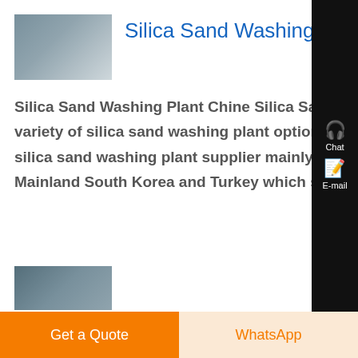[Figure (photo): Thumbnail image of silica sand washing plant machinery/equipment]
Silica Sand Washing Plant Youtube
Silica Sand Washing Plant Chine Silica Sand Washing Plant Wholesale Sand Wash Plants A wide variety of silica sand washing plant options are available to you such as free samples There are 576 silica sand washing plant suppliers mainly located in Asia The top supplying countries are China Mainland South Korea and Turkey which supply 99 1 and 1 of silica sand...